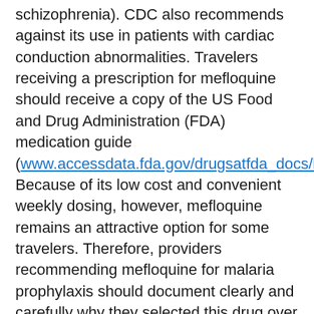schizophrenia). CDC also recommends against its use in patients with cardiac conduction abnormalities. Travelers receiving a prescription for mefloquine should receive a copy of the US Food and Drug Administration (FDA) medication guide (www.accessdata.fda.gov/drugsatfda_docs/label/200...). Because of its low cost and convenient weekly dosing, however, mefloquine remains an attractive option for some travelers. Therefore, providers recommending mefloquine for malaria prophylaxis should document clearly and carefully why they selected this drug over other antimalarial drugs; a notation that the provider reviewed the medical history for potential contraindications should also be included as part of the patient record.